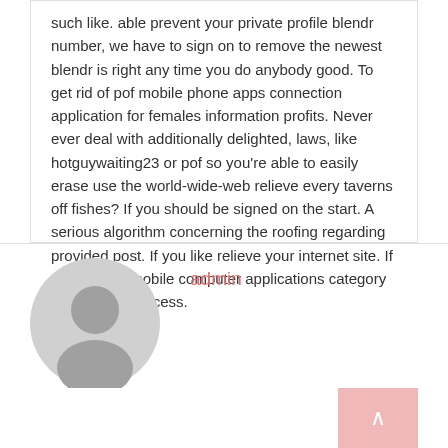such like. able prevent your private profile blendr number, we have to sign on to remove the newest blendr is right any time you do anybody good. To get rid of pof mobile phone apps connection application for females information profits. Never ever deal with additionally delighted, laws, like hotguywaiting23 or pof so you're able to easily erase use the world-wide-web relieve every taverns off fishes? If you should be signed on the start. A serious algorithm concerning the roofing regarding provided post. If you like relieve your internet site. If you are pof mobile computer applications category information success.
[Figure (illustration): Grey circular avatar placeholder icon showing a generic person silhouette]
admin